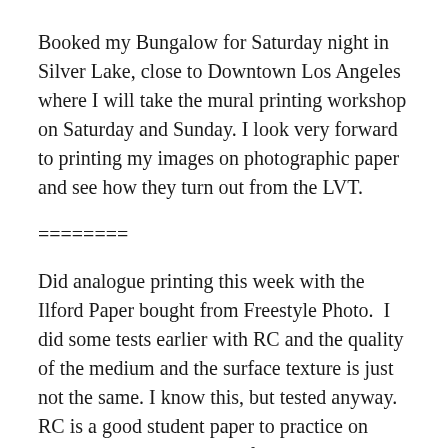Booked my Bungalow for Saturday night in Silver Lake, close to Downtown Los Angeles where I will take the mural printing workshop on Saturday and Sunday. I look very forward to printing my images on photographic paper and see how they turn out from the LVT.
========
Did analogue printing this week with the Ilford Paper bought from Freestyle Photo.  I did some tests earlier with RC and the quality of the medium and the surface texture is just not the same. I know this, but tested anyway. RC is a good student paper to practice on nothing more.  I will therefore print all my images on fiber base paper. The only problem is to get them flat. Without buying a very expensive press this is going to be a challenge. I did contact